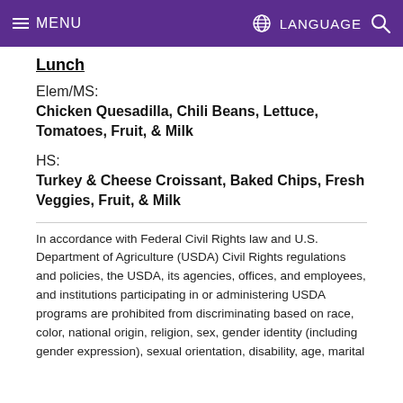MENU | LANGUAGE
Lunch
Elem/MS:
Chicken Quesadilla, Chili Beans, Lettuce, Tomatoes, Fruit, & Milk
HS:
Turkey & Cheese Croissant, Baked Chips, Fresh Veggies, Fruit, & Milk
In accordance with Federal Civil Rights law and U.S. Department of Agriculture (USDA) Civil Rights regulations and policies, the USDA, its agencies, offices, and employees, and institutions participating in or administering USDA programs are prohibited from discriminating based on race, color, national origin, religion, sex, gender identity (including gender expression), sexual orientation, disability, age, marital